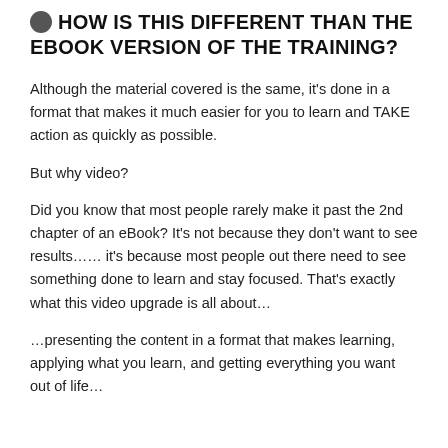HOW IS THIS DIFFERENT THAN THE EBOOK VERSION OF THE TRAINING?
Although the material covered is the same, it's done in a format that makes it much easier for you to learn and TAKE action as quickly as possible.
But why video?
Did you know that most people rarely make it past the 2nd chapter of an eBook? It's not because they don't want to see results…… it's because most people out there need to see something done to learn and stay focused. That's exactly what this video upgrade is all about…
…presenting the content in a format that makes learning, applying what you learn, and getting everything you want out of life…